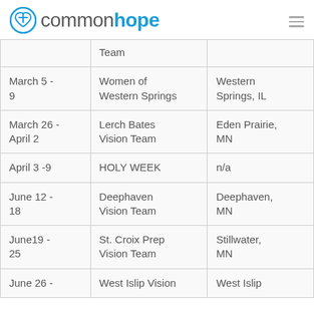common hope
| Date | Team | Location |
| --- | --- | --- |
|  | Team |  |
| March 5 - 9 | Women of Western Springs | Western Springs, IL |
| March 26 - April 2 | Lerch Bates Vision Team | Eden Prairie, MN |
| April 3 -9 | HOLY WEEK | n/a |
| June 12 - 18 | Deephaven Vision Team | Deephaven, MN |
| June19 - 25 | St. Croix Prep Vision Team | Stillwater, MN |
| June 26 - | West Islip Vision | West Islip |